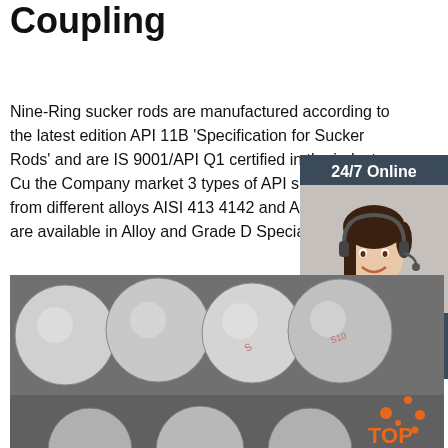Coupling
Nine-Ring sucker rods are manufactured according to the latest edition API 11B 'Specification for Sucker Rods' and are ISO 9001/API Q1 certified in the industry. Currently the Company market 3 types of API sucker rods formulated from different alloys AISI 4130, AISI 4142 and AISI 4720 and are available in Grade D Alloy and Grade D Special.
[Figure (photo): Customer service representative woman with headset, 24/7 Online chat widget with dark blue background, orange QUOTATION button]
[Figure (photo): Close-up photo of multiple steel sucker rods/cylinders stacked together, with TOP logo in orange bottom right]